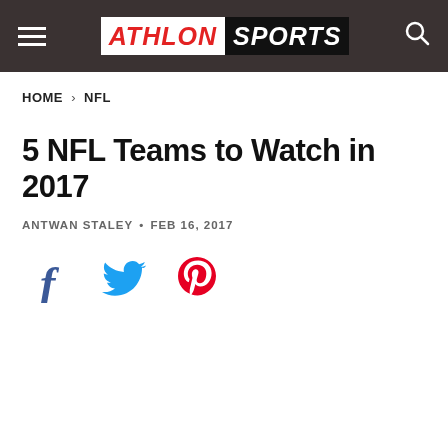ATHLON SPORTS
HOME > NFL
5 NFL Teams to Watch in 2017
ANTWAN STALEY • FEB 16, 2017
[Figure (other): Social share icons: Facebook, Twitter, Pinterest]